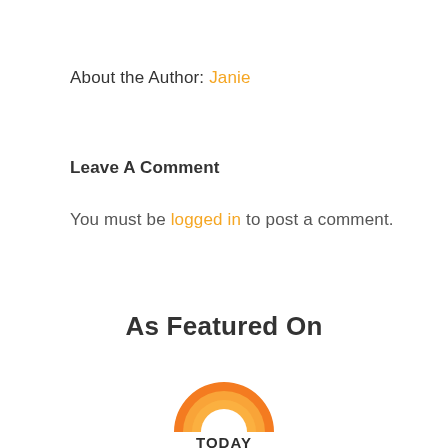About the Author: Janie
Leave A Comment
You must be logged in to post a comment.
As Featured On
[Figure (logo): TODAY show logo — orange rainbow arc above bold text 'TODAY']